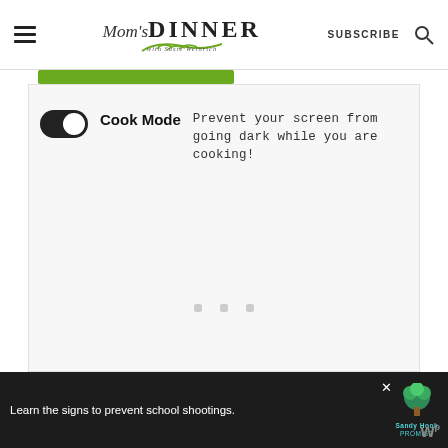Mom's DINNER with Susie Weinrich — SUBSCRIBE
[Figure (screenshot): Green progress bar or button element, partially visible at top of content area]
Cook Mode  Prevent your screen from going dark while you are cooking!
[Figure (other): Three grey square loading dots centered in content area]
[Figure (other): Advertisement banner: 'Learn the signs to prevent school shootings.' with Sandy Hook Promise logo and tree graphic. Close button (X) visible. W logo on right.]